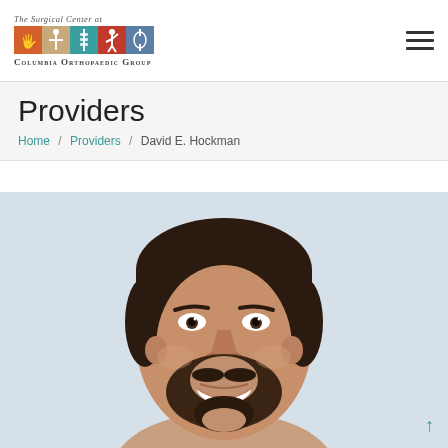[Figure (logo): The Surgical Center at Columbia Orthopaedic Group logo with colorful tile images and text]
Providers
Home / Providers / David E. Hockman
[Figure (photo): Headshot photo of David E. Hockman, a smiling man with dark beard and short hair, against a light blue-gray background]